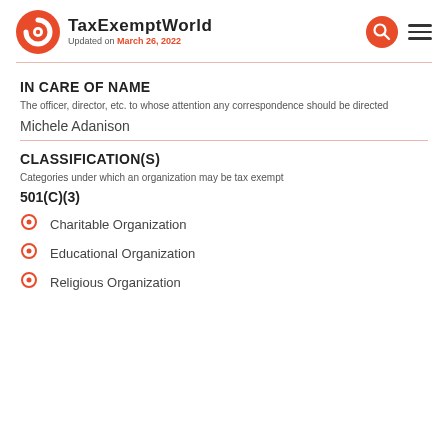TaxExemptWorld - Updated on March 26, 2022
IN CARE OF NAME
The officer, director, etc. to whose attention any correspondence should be directed
Michele Adanison
CLASSIFICATION(S)
Categories under which an organization may be tax exempt
501(C)(3)
Charitable Organization
Educational Organization
Religious Organization